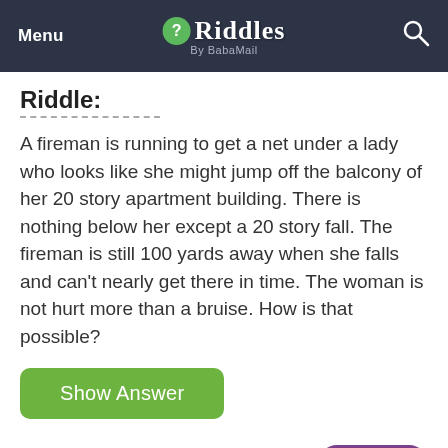Menu | Riddles By BabaMail | [Search]
Riddle:
A fireman is running to get a net under a lady who looks like she might jump off the balcony of her 20 story apartment building. There is nothing below her except a 20 story fall. The fireman is still 100 yards away when she falls and can't nearly get there in time. The woman is not hurt more than a bruise. How is that possible?
Show Answer
Rate: [thumbs down] [thumbs up]    Share